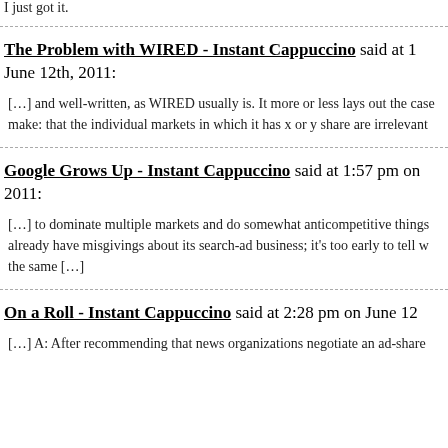I just got it.
The Problem with WIRED - Instant Cappuccino said at 1 June 12th, 2011: […] and well-written, as WIRED usually is. It more or less lays out the case make: that the individual markets in which it has x or y share are irrelevant
Google Grows Up - Instant Cappuccino said at 1:57 pm on 2011: […] to dominate multiple markets and do somewhat anticompetitive things already have misgivings about its search-ad business; it's too early to tell w the same […]
On a Roll - Instant Cappuccino said at 2:28 pm on June 12 […] A: After recommending that news organizations negotiate an ad-share